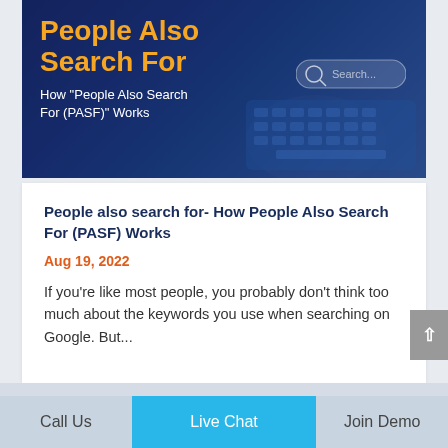[Figure (illustration): Hero banner with dark blue background showing a hand typing on a keyboard, with a search box graphic. Title 'People Also Search For' in orange bold text and subtitle 'How "People Also Search For (PASF)" Works' in white text.]
People also search for- How People Also Search For (PASF) Works
Aug 19, 2022
If you're like most people, you probably don't think too much about the keywords you use when searching on Google. But...
Call Us | Live Chat | Join Demo